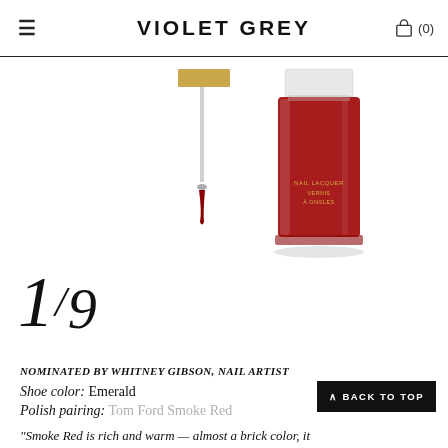VIOLET GREY
[Figure (photo): A bottle of Tom Ford Nail Lacquer in Smoke Red (deep crimson) with the brush applicator shown beside it, open, on a white background.]
1/9
NOMINATED BY WHITNEY GIBSON, NAIL ARTIST
Shoe color: Emerald
Polish pairing: Tom Ford Smoke Red
"Smoke Red is rich and warm — almost a brick color, it